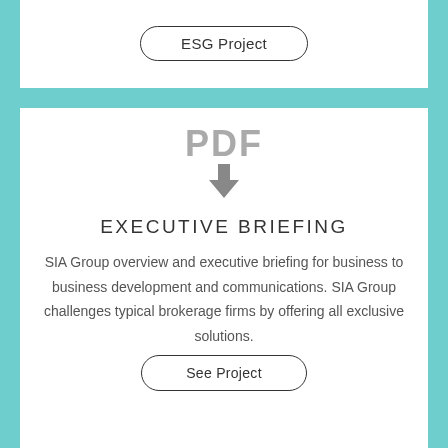ESG Project
[Figure (infographic): PDF icon with downward arrow indicating a PDF document download or preview]
EXECUTIVE BRIEFING
SIA Group overview and executive briefing for business to business development and communications. SIA Group challenges typical brokerage firms by offering all exclusive solutions.
See Project